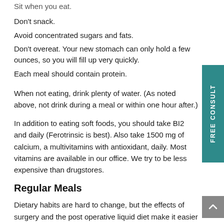Sit when you eat.
Don't snack.
Avoid concentrated sugars and fats.
Don't overeat. Your new stomach can only hold a few ounces, so you will fill up very quickly.
Each meal should contain protein.
When not eating, drink plenty of water. (As noted above, not drink during a meal or within one hour after.)
In addition to eating soft foods, you should take BI2 and daily (Ferotrinsic is best). Also take 1500 mg of calcium, a multivitamins with antioxidant, daily. Most vitamins are available in our office. We try to be less expensive than drugstores.
Regular Meals
Dietary habits are hard to change, but the effects of surgery and the post operative liquid diet make it easier to begin.